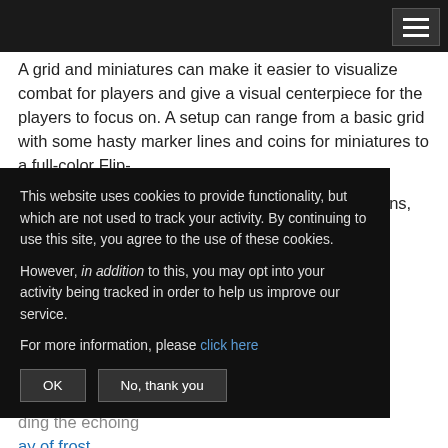A grid and miniatures can make it easier to visualize combat for players and give a visual centerpiece for the players to focus on. A setup can range from a basic grid with some hasty marker lines and coins for miniatures to a full-color Flip-
Mat with official prepainted minis or cardboard pawns, all the way to a set of 3-D dungeon terrain and handpainted minis for each character. Many online tabletops have preset for movement n!
tment, budget,
cribing sensory nd 3-D elements ding the echoing ay of frost the table, and
[Figure (other): Cookie consent modal overlay on dark background with OK and No thank you buttons]
This website uses cookies to provide functionality, but which are not used to track your activity. By continuing to use this site, you agree to the use of these cookies.

However, in addition to this, you may opt into your activity being tracked in order to help us improve our service.

For more information, please click here
OK
No, thank you